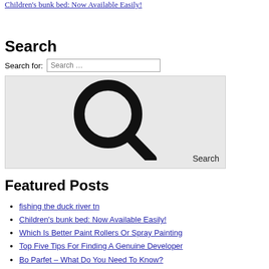Children's bunk bed: Now Available Easily!
Search
[Figure (screenshot): Search widget with a search input box labeled 'Search for:' and a large grey search button area containing a magnifying glass icon and 'Search' label]
Featured Posts
fishing the duck river tn
Children's bunk bed: Now Available Easily!
Which Is Better Paint Rollers Or Spray Painting
Top Five Tips For Finding A Genuine Developer
Bo Parfet – What Do You Need To Know?